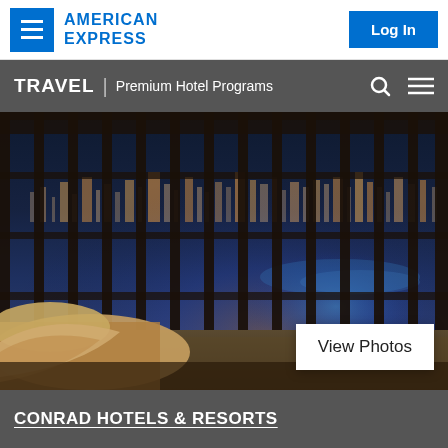[Figure (logo): American Express logo - blue text on white background with hamburger menu button]
Log In
TRAVEL | Premium Hotel Programs
[Figure (photo): Luxury hotel room with floor-to-ceiling curved windows overlooking a city at night/dusk, with city lights visible, and a beige armchair in foreground. View Photos button overlay in bottom right.]
CONRAD HOTELS & RESORTS